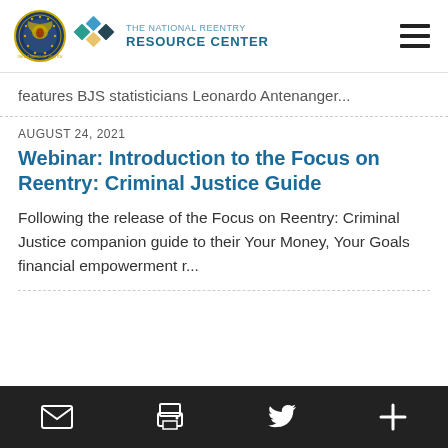the NATIONAL REENTRY RESOURCE CENTER
features BJS statisticians Leonardo Antenanger...
AUGUST 24, 2021
Webinar: Introduction to the Focus on Reentry: Criminal Justice Guide
Following the release of the Focus on Reentry: Criminal Justice companion guide to their Your Money, Your Goals financial empowerment r...
Email | Print | Twitter | More